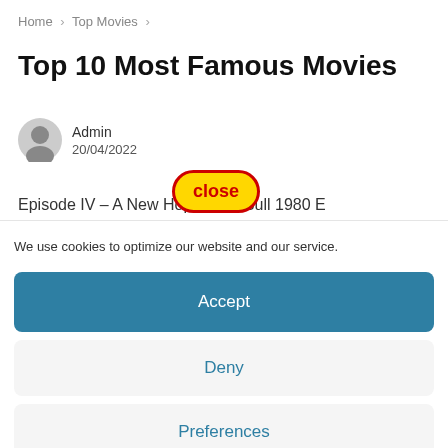Home > Top Movies >
Top 10 Most Famous Movies
Admin
20/04/2022
Episode IV – A New Hope 1… g Bull 1980 E
[Figure (other): Close button overlay - yellow background with red border and red 'close' text]
We use cookies to optimize our website and our service.
Accept
Deny
Preferences
Cookie Policy